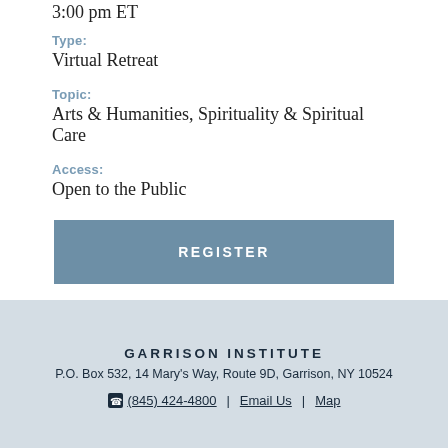3:00 pm ET
Type:
Virtual Retreat
Topic:
Arts & Humanities, Spirituality & Spiritual Care
Access:
Open to the Public
REGISTER
GARRISON INSTITUTE
P.O. Box 532, 14 Mary's Way, Route 9D, Garrison, NY 10524
☎ (845) 424-4800 | Email Us | Map